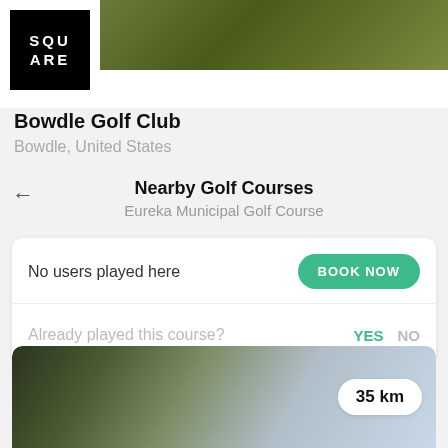[Figure (screenshot): Top portion of a golf app card showing a dark green course image and a square logo with text SQU ARE on black background]
Bowdle Golf Club
Bowdle, United States
Nearby Golf Courses
Eureka Municipal Golf Course
No users played here
BOOK NOW
Already played this course?
YES
NO
[Figure (photo): Bottom card showing a blurred golf course landscape image with a 35 km badge in the upper right corner]